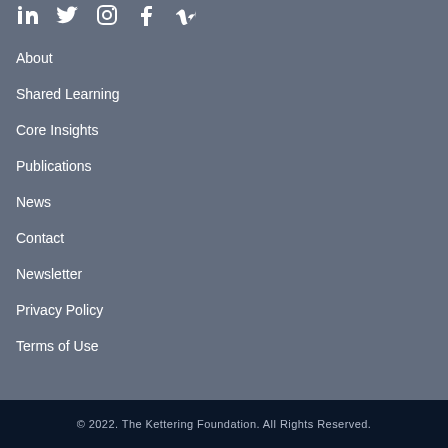[Figure (other): Row of social media icons: LinkedIn, Twitter, Instagram, Facebook, Vimeo]
About
Shared Learning
Core Insights
Publications
News
Contact
Newsletter
Privacy Policy
Terms of Use
© 2022. The Kettering Foundation. All Rights Reserved.